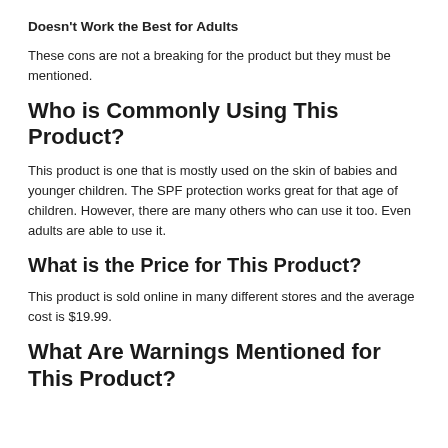Doesn't Work the Best for Adults
These cons are not a breaking for the product but they must be mentioned.
Who is Commonly Using This Product?
This product is one that is mostly used on the skin of babies and younger children. The SPF protection works great for that age of children. However, there are many others who can use it too. Even adults are able to use it.
What is the Price for This Product?
This product is sold online in many different stores and the average cost is $19.99.
What Are Warnings Mentioned for This Product?